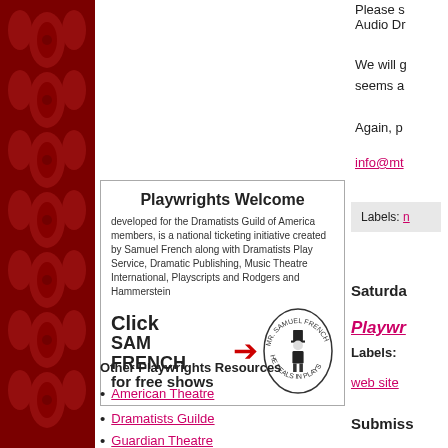[Figure (illustration): Red decorative sidebar pattern with floral/damask motifs on dark red background]
Please s Audio Dr
We will g seems a
Again, p
info@mt
[Figure (advertisement): Playwrights Welcome ad box: developed for the Dramatists Guild of America members, is a national ticketing initiative created by Samuel French along with Dramatists Play Service, Dramatic Publishing, Music Theatre International, Playscripts and Rodgers and Hammerstein. Click SAM FRENCH for free shows. Mr. Samuel French medallion logo.]
Other Playwrights Resources
American Theatre
Dramatists Guilde
Guardian Theatre
[Figure (other): Labels section with link]
Saturday
Playwr
Labels:
web site
Submiss